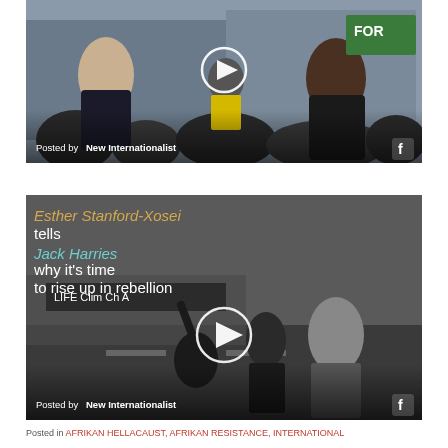[Figure (screenshot): Video thumbnail showing two men facing each other at a protest/demonstration, with 'Posted by New Internationalist' text and Facebook icon overlay. Play button visible in center.]
[Figure (screenshot): Video thumbnail with text 'Esther Stanford-Xosei tells Jack Harries why it’s time to rise up in rebellion' overlaid on a black and white protest scene. Posted by New Internationalist with Facebook icon. Play button in center.]
Posted in AFRIKAN HELLACAUST, AFRIKAN RESISTANCE, INTERNATIONAL